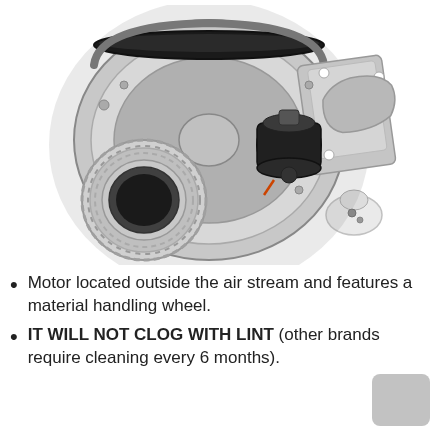[Figure (photo): A centrifugal blower/inducer motor assembly with a material handling wheel, sheet metal housing, round inlet duct with louvered collar, motor mounted externally, mounting bracket, and small hardware bag shown on a white background.]
Motor located outside the air stream and features a material handling wheel.
IT WILL NOT CLOG WITH LINT (other brands require cleaning every 6 months).